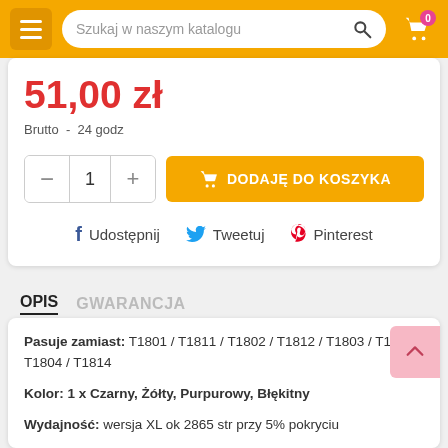Szukaj w naszym katalogu
51,00 zł
Brutto  -  24 godz
DODAJĘ DO KOSZYKA
f Udostępnij   Tweetuj   Pinterest
OPIS   GWARANCJA
Pasuje zamiast: T1801 / T1811 / T1802 / T1812 / T1803 / T1813 / T1804 / T1814
Kolor: 1 x Czarny, Żółty, Purpurowy, Błękitny
Wydajność: wersja XL ok 2865 str przy 5% pokryciu